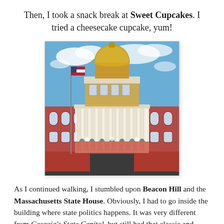Then, I took a snack break at Sweet Cupcakes. I tried a cheesecake cupcake, yum!
[Figure (photo): Photograph of the Massachusetts State House building with its iconic gold dome, red brick facade, white columns, and an American flag on a flagpole against a blue sky with clouds.]
As I continued walking, I stumbled upon Beacon Hill and the Massachusetts State House. Obviously, I had to go inside the building where state politics happens. It was very different from Georgia's State Capitol, but still had that classic and historic feel